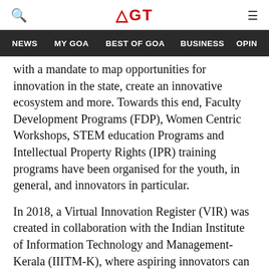AGT (Goa Times logo header with search and menu icons)
NEWS  MY GOA  BEST OF GOA  BUSINESS  OPIN
with a mandate to map opportunities for innovation in the state, create an innovative ecosystem and more. Towards this end, Faculty Development Programs (FDP), Women Centric Workshops, STEM education Programs and Intellectual Property Rights (IPR) training programs have been organised for the youth, in general, and innovators in particular.
In 2018, a Virtual Innovation Register (VIR) was created in collaboration with the Indian Institute of Information Technology and Management-Kerala (IIITM-K), where aspiring innovators can register an idea, and pursue it by filing a patent application and later, for commercialistion of the product/process or